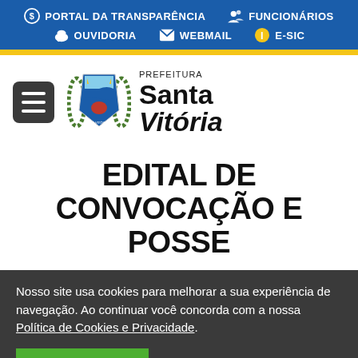PORTAL DA TRANSPARÊNCIA | FUNCIONÁRIOS | OUVIDORIA | WEBMAIL | E-SIC
[Figure (logo): Prefeitura Santa Vitória logo with municipal coat of arms and hamburger menu icon]
EDITAL DE CONVOCAÇÃO E POSSE
Nosso site usa cookies para melhorar a sua experiência de navegação. Ao continuar você concorda com a nossa Política de Cookies e Privacidade.
PROSSEGUIR